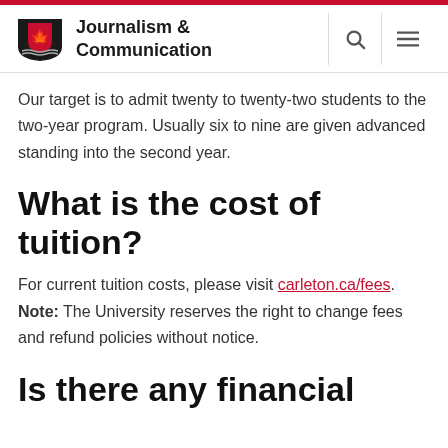Journalism & Communication
Our target is to admit twenty to twenty-two students to the two-year program. Usually six to nine are given advanced standing into the second year.
What is the cost of tuition?
For current tuition costs, please visit carleton.ca/fees. Note: The University reserves the right to change fees and refund policies without notice.
Is there any financial